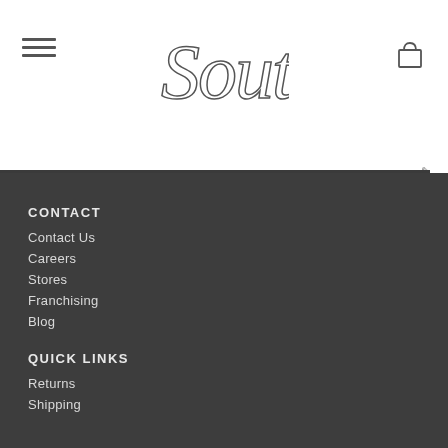South (logo/brand name header with hamburger menu and cart icon)
CONTACT
Contact Us
Careers
Stores
Franchising
Blog
QUICK LINKS
Returns
Shipping